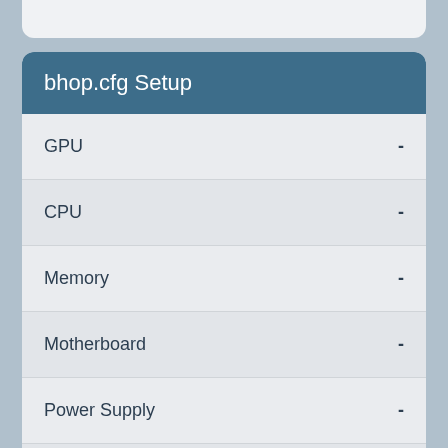bhop.cfg Setup
GPU -
CPU -
Memory -
Motherboard -
Power Supply -
Storage -